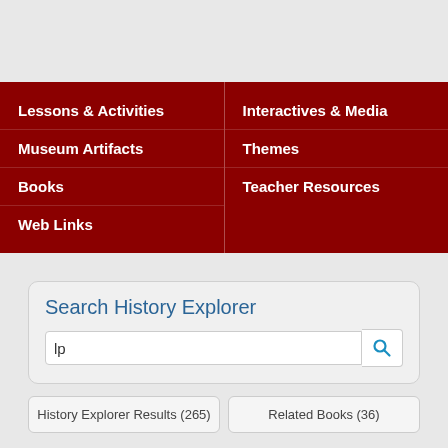Lessons & Activities
Museum Artifacts
Books
Web Links
Interactives & Media
Themes
Teacher Resources
Search History Explorer
lp
History Explorer Results (265)
Related Books (36)